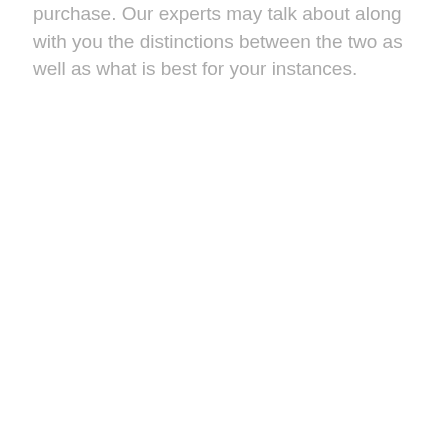purchase. Our experts may talk about along with you the distinctions between the two as well as what is best for your instances.